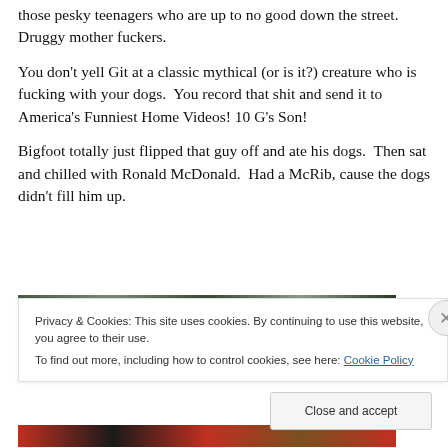those pesky teenagers who are up to no good down the street.  Druggy mother fuckers.
You don't yell Git at a classic mythical (or is it?) creature who is fucking with your dogs.  You record that shit and send it to America's Funniest Home Videos! 10 G's Son!
Bigfoot totally just flipped that guy off and ate his dogs.  Then sat and chilled with Ronald McDonald.  Had a McRib, cause the dogs didn't fill him up.
[Figure (photo): Partial view of an outdoor nature/forest photograph, partially obscured by cookie consent banner]
Privacy & Cookies: This site uses cookies. By continuing to use this website, you agree to their use.
To find out more, including how to control cookies, see here: Cookie Policy